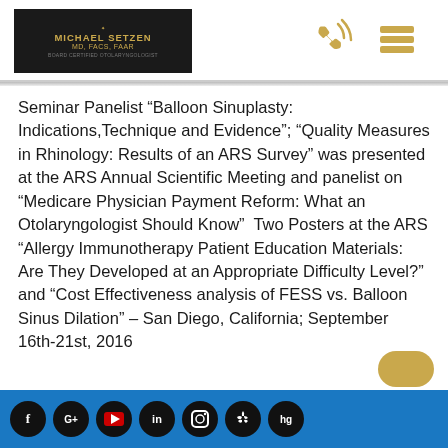[Figure (logo): Michael Setzen MD FACS FAAR logo on dark background with gold text]
[Figure (other): Gold phone/contact icon]
[Figure (other): Gold hamburger menu icon]
Seminar Panelist “Balloon Sinuplasty: Indications,Technique and Evidence”; “Quality Measures in Rhinology: Results of an ARS Survey” was presented at the ARS Annual Scientific Meeting and panelist on “Medicare Physician Payment Reform: What an Otolaryngologist Should Know”  Two Posters at the ARS “Allergy Immunotherapy Patient Education Materials: Are They Developed at an Appropriate Difficulty Level?” and “Cost Effectiveness analysis of FESS vs. Balloon Sinus Dilation” – San Diego, California; September 16th-21st, 2016
Social media icons: Facebook, Google+, YouTube, LinkedIn, Instagram, Yelp, hg